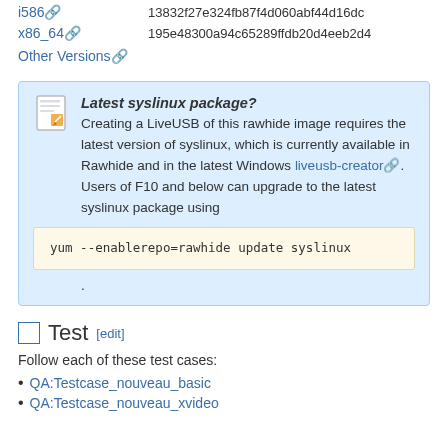i586 13832f27e324fb87f4d060abf44d16dc
x86_64 195e48300a94c65289ffdb20d4eeb2d4
Other Versions
Latest syslinux package? Creating a LiveUSB of this rawhide image requires the latest version of syslinux, which is currently available in Rawhide and in the latest Windows liveusb-creator. Users of F10 and below can upgrade to the latest syslinux package using
Test [edit]
Follow each of these test cases:
QA:Testcase_nouveau_basic
QA:Testcase_nouveau_xvideo